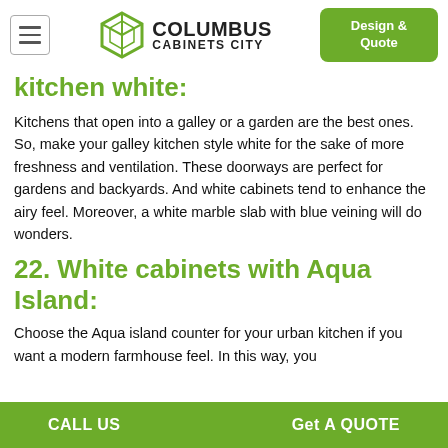Columbus Cabinets City - Design & Quote
kitchen white:
Kitchens that open into a galley or a garden are the best ones. So, make your galley kitchen style white for the sake of more freshness and ventilation. These doorways are perfect for gardens and backyards. And white cabinets tend to enhance the airy feel. Moreover, a white marble slab with blue veining will do wonders.
22. White cabinets with Aqua Island:
Choose the Aqua island counter for your urban kitchen if you want a modern farmhouse feel. In this way, you
CALL US   Get A QUOTE